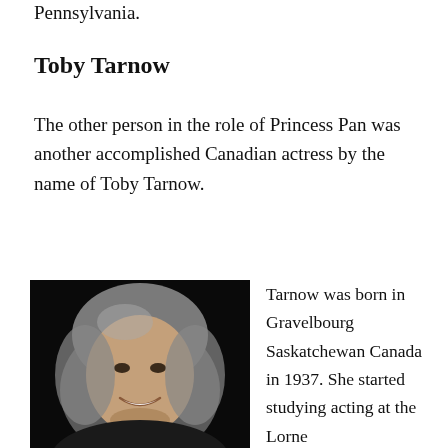Pennsylvania.
Toby Tarnow
The other person in the role of Princess Pan was another accomplished Canadian actress by the name of Toby Tarnow.
[Figure (photo): Portrait photo of Toby Tarnow, a woman with curly grey hair, smiling, against a dark background.]
Tarnow was born in Gravelbourg Saskatchewan Canada in 1937. She started studying acting at the Lorne